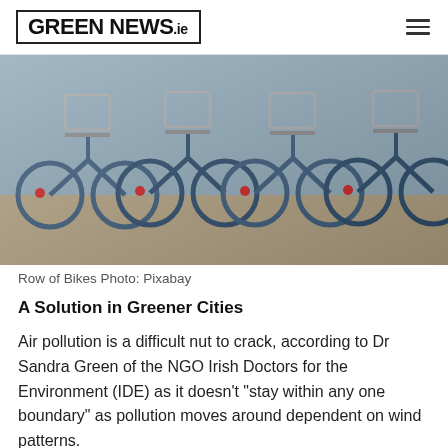GREEN NEWS.ie
[Figure (photo): A row of blue city bicycles with wire baskets parked closely together, viewed from the side/rear angle.]
Row of Bikes Photo: Pixabay
A Solution in Greener Cities
Air pollution is a difficult nut to crack, according to Dr Sandra Green of the NGO Irish Doctors for the Environment (IDE) as it doesn't "stay within any one boundary" as pollution moves around dependent on wind patterns.